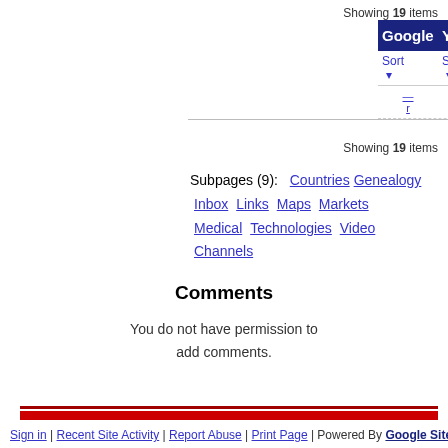Showing 19 items
| Google | Yahoo | Microsoft | Wikis | Video... |
| --- | --- | --- | --- | --- |
| Sort ▾ | Sort ▾ | Sort ▾ | Sort ▾ | Sort ▾ |
| ..r | ..e | ..n |  | ..s |
Showing 19 items
Subpages (9): Countries Genealogy Inbox Links Maps Markets Medical Technologies Video Channels
Comments
You do not have permission to add comments.
Sign in | Recent Site Activity | Report Abuse | Print Page | Powered By Google Sites